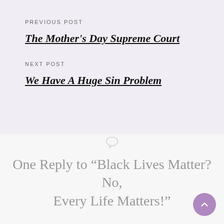PREVIOUS POST
The Mother's Day Supreme Court
NEXT POST
We Have A Huge Sin Problem
One Reply to “Black Lives Matter? No, Every Life Matters!”